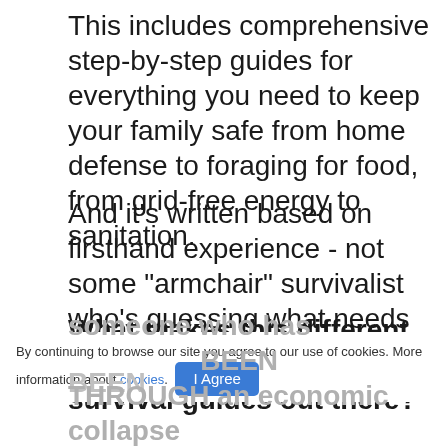This includes comprehensive step-by-step guides for everything you need to keep your family safe from home defense to foraging for food, from grid-free energy to sanitation.
And it's written based on firsthand experience - not some "armchair" survivalist who's guessing what needs to be done.
What makes this different from all of the other survival guides out there?
By continuing to browse our site you agree to our use of cookies. More information about cookies. I Agree
someone who has BEEN THROUGH an economic collapse